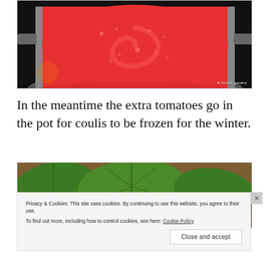[Figure (photo): Overhead view of bright red tomato coulis simmering in a pot on a black stovetop. Watermark reads 'A french garden'.]
In the meantime the extra tomatoes go in the pot for coulis to be frozen for the winter.
[Figure (photo): Garden photo showing large green leaves (squash or pumpkin) with brown mulch/soil in the background.]
Privacy & Cookies: This site uses cookies. By continuing to use this website, you agree to their use.
To find out more, including how to control cookies, see here: Cookie Policy
Close and accept